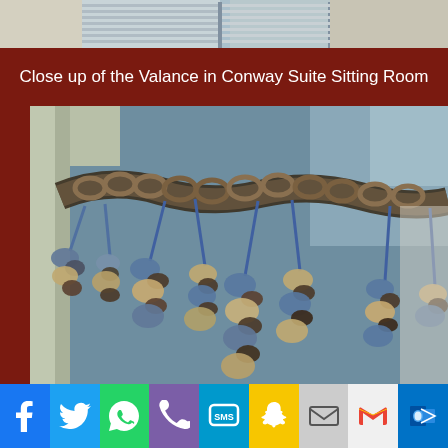[Figure (photo): Top portion of a room interior showing window with blinds and light blue-grey wall]
Close up of the Valance in Conway Suite Sitting Room
[Figure (photo): Close up photograph of decorative valance/curtain trim with twisted rope braid and hanging ornamental beads in blue, tan/cream, and dark brown colors against a blue-grey wall]
[Figure (infographic): Social media sharing bar with icons: Facebook, Twitter, WhatsApp, Phone/Viber, SMS, Snapchat, Email, Gmail, Outlook]